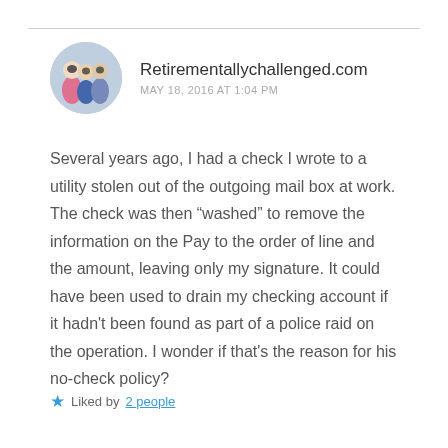[Figure (photo): Circular avatar image showing a group of people in costumes or masks]
Retirementallychallenged.com
MAY 18, 2016 AT 1:04 PM
Several years ago, I had a check I wrote to a utility stolen out of the outgoing mail box at work. The check was then “washed” to remove the information on the Pay to the order of line and the amount, leaving only my signature. It could have been used to drain my checking account if it hadn't been found as part of a police raid on the operation. I wonder if that's the reason for his no-check policy?
★ Liked by 2 people